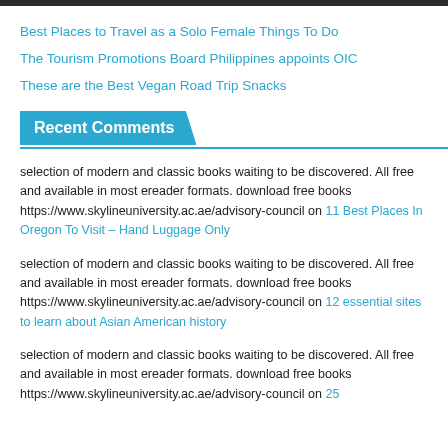Best Places to Travel as a Solo Female Things To Do
The Tourism Promotions Board Philippines appoints OIC
These are the Best Vegan Road Trip Snacks
Recent Comments
selection of modern and classic books waiting to be discovered. All free and available in most ereader formats. download free books https://www.skylineuniversity.ac.ae/advisory-council on 11 Best Places In Oregon To Visit – Hand Luggage Only
selection of modern and classic books waiting to be discovered. All free and available in most ereader formats. download free books https://www.skylineuniversity.ac.ae/advisory-council on 12 essential sites to learn about Asian American history
selection of modern and classic books waiting to be discovered. All free and available in most ereader formats. download free books https://www.skylineuniversity.ac.ae/advisory-council on 25